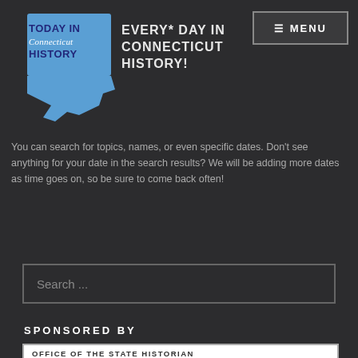[Figure (logo): Today in Connecticut History logo — blue state of Connecticut shape with text overlay reading TODAY IN Connecticut HISTORY]
EVERY* DAY IN CONNECTICUT HISTORY!
[Figure (other): MENU navigation button with hamburger icon]
You can search for topics, names, or even specific dates. Don't see anything for your date in the search results? We will be adding more dates as time goes on, so be sure to come back often!
Search ...
SPONSORED BY
[Figure (logo): Sponsor logo box containing: OFFICE OF THE STATE HISTORIAN, UCONN | HARTFORD, public [badge] Sue B Hart Foundation [runner icons]]